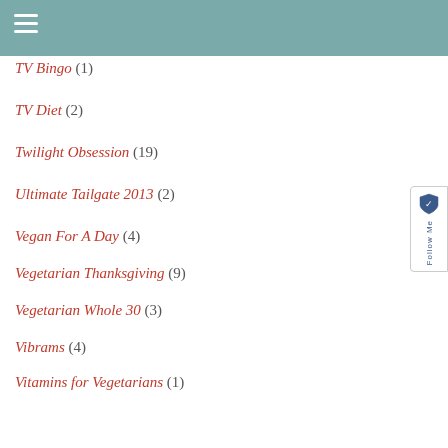≡
TV Bingo (1)
TV Diet (2)
Twilight Obsession (19)
Ultimate Tailgate 2013 (2)
Vegan For A Day (4)
Vegetarian Thanksgiving (9)
Vegetarian Whole 30 (3)
Vibrams (4)
Vitamins for Vegetarians (1)
Weekly Updates (31)
What I Ate (5)
Whole 30 (1)
Workout Debate (6)
Workout DVD (2)